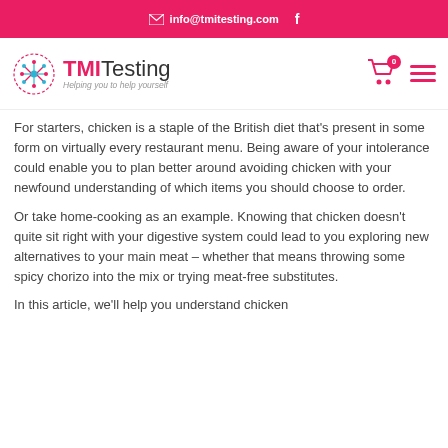info@tmitesting.com  f
[Figure (logo): TMI Testing logo with circuit-board icon, tagline: Helping you to help yourself]
For starters, chicken is a staple of the British diet that's present in some form on virtually every restaurant menu. Being aware of your intolerance could enable you to plan better around avoiding chicken with your newfound understanding of which items you should choose to order.
Or take home-cooking as an example. Knowing that chicken doesn't quite sit right with your digestive system could lead to you exploring new alternatives to your main meat – whether that means throwing some spicy chorizo into the mix or trying meat-free substitutes.
In this article, we'll help you understand chicken